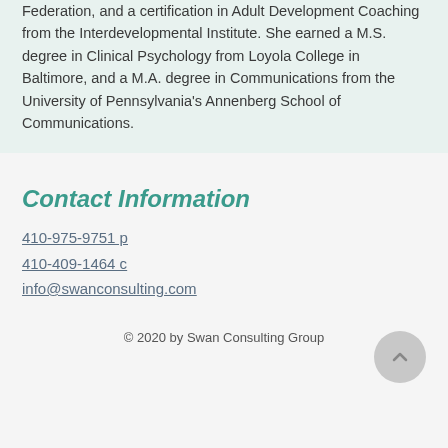Federation, and a certification in Adult Development Coaching from the Interdevelopmental Institute. She earned a M.S. degree in Clinical Psychology from Loyola College in Baltimore, and a M.A. degree in Communications from the University of Pennsylvania's Annenberg School of Communications.
Contact Information
410-975-9751 p
410-409-1464 c
info@swanconsulting.com
© 2020 by Swan Consulting Group